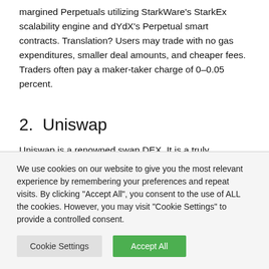margined Perpetuals utilizing StarkWare's StarkEx scalability engine and dYdX's Perpetual smart contracts. Translation? Users may trade with no gas expenditures, smaller deal amounts, and cheaper fees. Traders often pay a maker-taker charge of 0–0.05 percent.
2.  Uniswap
Uniswap is a renowned swap DEX. It is a truly decentralized protocol built on top of Ethereum. Uniswap V1 premiered in 2018 and was followed by Uniswap V3 in May 2021. A
We use cookies on our website to give you the most relevant experience by remembering your preferences and repeat visits. By clicking "Accept All", you consent to the use of ALL the cookies. However, you may visit "Cookie Settings" to provide a controlled consent.